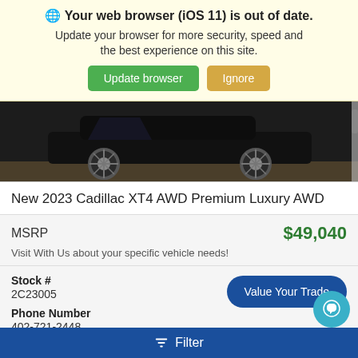🌐 Your web browser (iOS 11) is out of date. Update your browser for more security, speed and the best experience on this site.
[Figure (photo): Partial view of a dark Cadillac XT4 SUV with visible wheels and gray floor in a dealership]
New 2023 Cadillac XT4 AWD Premium Luxury AWD
MSRP $49,040
Visit With Us about your specific vehicle needs!
Stock #
2C23005
Phone Number
402-721-2448
Filter